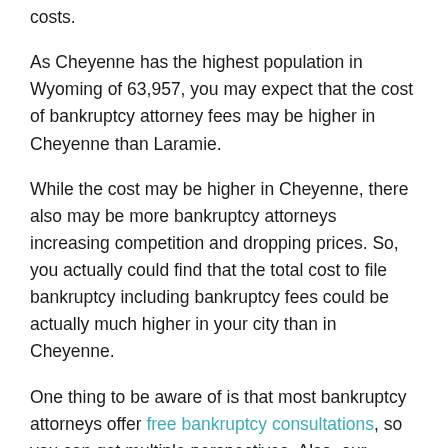costs.
As Cheyenne has the highest population in Wyoming of 63,957, you may expect that the cost of bankruptcy attorney fees may be higher in Cheyenne than Laramie.
While the cost may be higher in Cheyenne, there also may be more bankruptcy attorneys increasing competition and dropping prices. So, you actually could find that the total cost to file bankruptcy including bankruptcy fees could be actually much higher in your city than in Cheyenne.
One thing to be aware of is that most bankruptcy attorneys offer free bankruptcy consultations, so you can get multiple perspectives. Also, our bankruptcy cost calculator below takes into consideration these variables when providing you